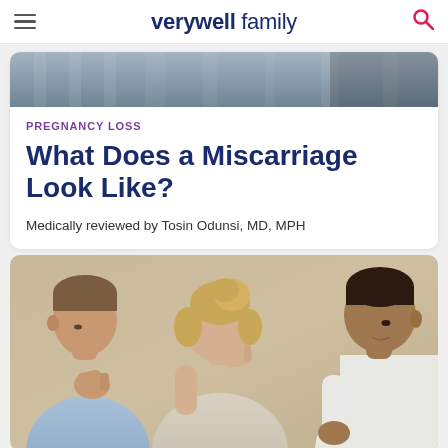verywell family
[Figure (photo): Partial top of a photo showing blurred background, likely outdoors]
PREGNANCY LOSS
What Does a Miscarriage Look Like?
Medically reviewed by Tosin Odunsi, MD, MPH
[Figure (photo): A couple sitting with heads bowed in distress while a doctor or counselor speaks with them. The woman in the middle has her head bowed and hand raised to her face. The man on the left looks down pensively.]
We help people find answers, solve problems and get inspired.
[Figure (logo): Dotdash Meredith logo — red circle with D and colorful flower icon beside brand name]